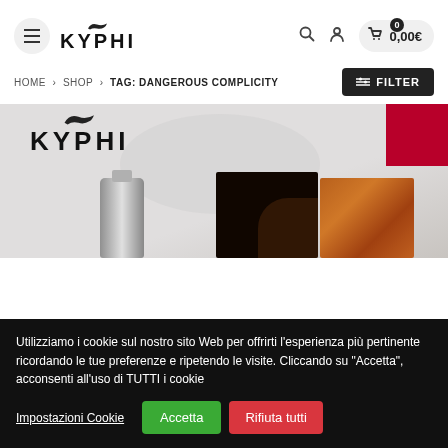KYPHI — Menu, Search, User, Cart 0,00€
HOME > SHOP > TAG: DANGEROUS COMPLICITY
FILTER
[Figure (screenshot): Kyphi e-commerce product page showing logo, a silver bottle, dark and brown product images, and a red square accent]
Utilizziamo i cookie sul nostro sito Web per offrirti l'esperienza più pertinente ricordando le tue preferenze e ripetendo le visite. Cliccando su "Accetta", acconsenti all'uso di TUTTI i cookie
Impostazioni Cookie   Accetta   Rifiuta tutti